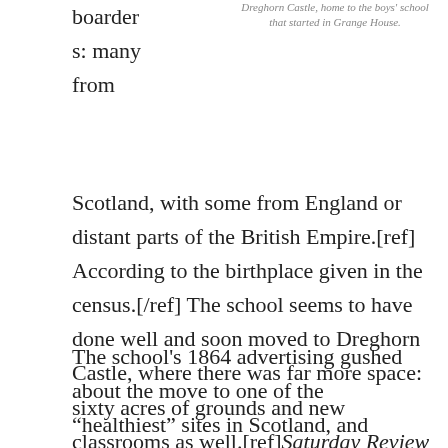boarder
s: many
from
Dreghorn Castle, home to the boys' school that started in Grange House.
Scotland, with some from England or distant parts of the British Empire.[ref] According to the birthplace given in the census.[/ref] The school seems to have done well and soon moved to Dreghorn Castle, where there was far more space: sixty acres of grounds and new classrooms as well.[ref]Saturday Review of Politics, Literature, Science and Art, Vol. 17, 1864[/ref]
The school’s 1864 advertising gushed about the move to one of the “healthiest” sites in Scotland, and explained that at the Grange there was some…[ref] Greenock Advertiser, 6 August 1864[/ref]